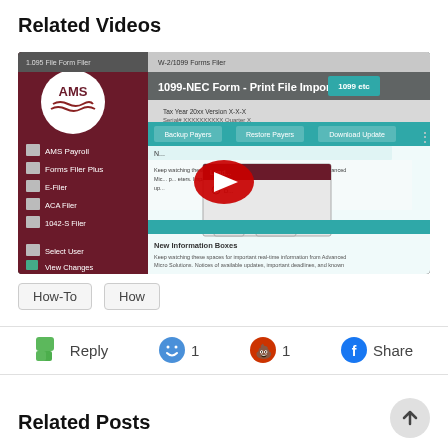Related Videos
[Figure (screenshot): YouTube video thumbnail showing '1099-NEC Form - Print File Import' with AMS software interface and YouTube play button overlay]
How-To
How
Reply   1   1   Share
Related Posts